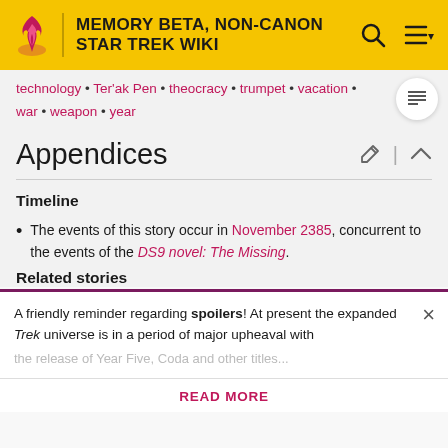MEMORY BETA, NON-CANON STAR TREK WIKI
technology • Ter'ak Pen • theocracy • trumpet • vacation • war • weapon • year
Appendices
Timeline
The events of this story occur in November 2385, concurrent to the events of the DS9 novel: The Missing.
Related stories
A friendly reminder regarding spoilers! At present the expanded Trek universe is in a period of major upheaval with
READ MORE